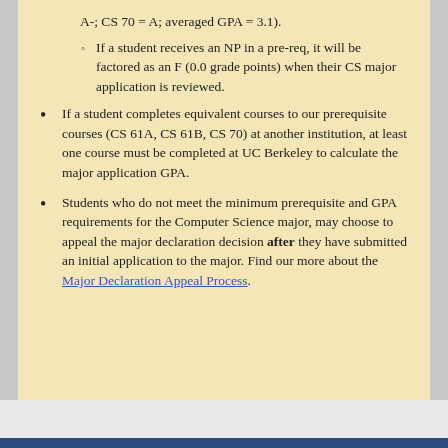A-; CS 70 = A; averaged GPA = 3.1).
If a student receives an NP in a pre-req, it will be factored as an F (0.0 grade points) when their CS major application is reviewed.
If a student completes equivalent courses to our prerequisite courses (CS 61A, CS 61B, CS 70) at another institution, at least one course must be completed at UC Berkeley to calculate the major application GPA.
Students who do not meet the minimum prerequisite and GPA requirements for the Computer Science major, may choose to appeal the major declaration decision after they have submitted an initial application to the major. Find our more about the Major Declaration Appeal Process.